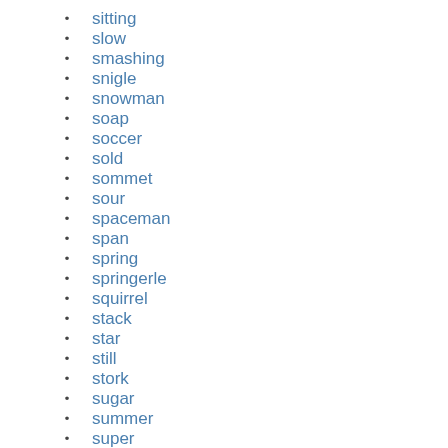sitting
slow
smashing
snigle
snowman
soap
soccer
sold
sommet
sour
spaceman
span
spring
springerle
squirrel
stack
star
still
stork
sugar
summer
super